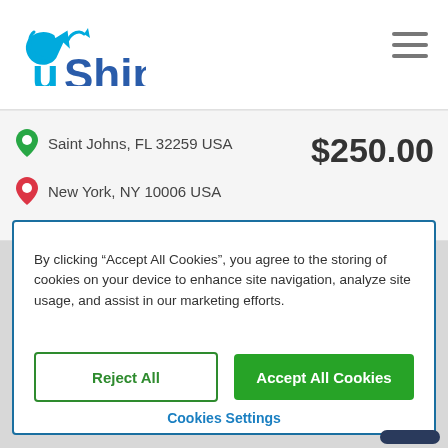[Figure (logo): uShip logo with blue text and arrow icon]
Saint Johns, FL 32259 USA
$250.00
New York, NY 10006 USA
By clicking “Accept All Cookies”, you agree to the storing of cookies on your device to enhance site navigation, analyze site usage, and assist in our marketing efforts.
Reject All
Accept All Cookies
Cookies Settings